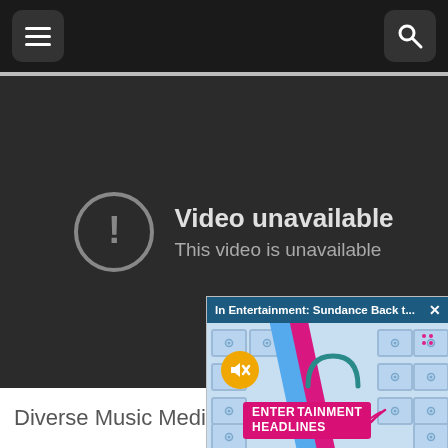[Figure (screenshot): Mobile website navigation bar with hamburger menu icon on the left and search (magnifying glass) icon on the right, both on a dark background]
[Figure (screenshot): Video player showing 'Video unavailable / This video is unavailable' error message with exclamation mark in circle icon, on dark background]
Video unavailable
This video is unavailable
Diverse Music Media
[Figure (screenshot): Entertainment Headlines popup overlay with teal/pink/blue diagonal stripe design, mute button icon, and 'ENTERTAINMENT HEADLINES' text in pink box. Header reads 'In Entertainment: Sundance Back t...' with close X button.]